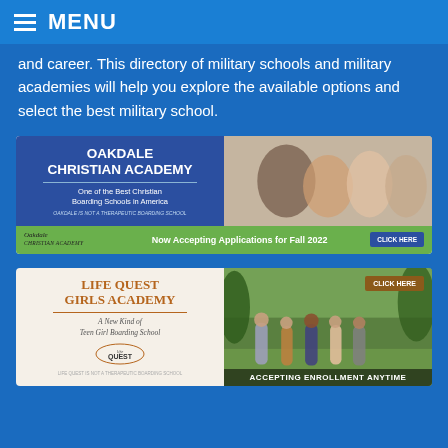MENU
and career. This directory of military schools and military academies will help you explore the available options and select the best military school.
[Figure (infographic): Oakdale Christian Academy advertisement banner. Blue background with white bold text reading OAKDALE CHRISTIAN ACADEMY, subtitle One of the Best Christian Boarding Schools in America, small italic text OAKDALE IS NOT A THERAPEUTIC BOARDING SCHOOL, photo of smiling students on the right half. Green bottom bar with Oakdale logo, text Now Accepting Applications for Fall 2022, and a CLICK HERE button.]
[Figure (infographic): Life Quest Girls Academy advertisement banner. Cream background on left with brown text LIFE QUEST GIRLS ACADEMY, italic subtitle A New Kind of Teen Girl Boarding School, Life Quest logo, small text LIFE QUEST IS NOT A THERAPEUTIC BOARDING SCHOOL. Right half shows photo of girls walking outdoors with CLICK HERE button and ACCEPTING ENROLLMENT ANYTIME text at bottom.]